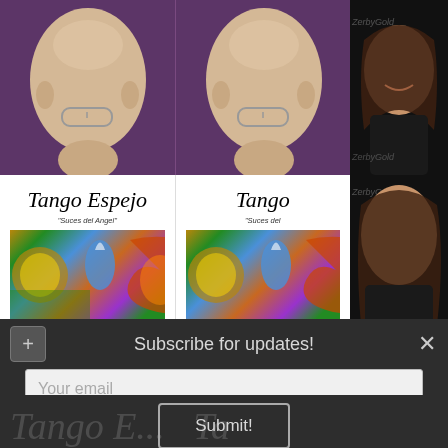[Figure (photo): Screenshot of a website showing album covers for 'Tango Espejo Live - Music of Astor Piazzolla' displayed in a grid, with bald man profile photos at top and a woman photo on the right side, overlaid with a dark modal popup]
Subscribe for updates!
Your email
Submit!